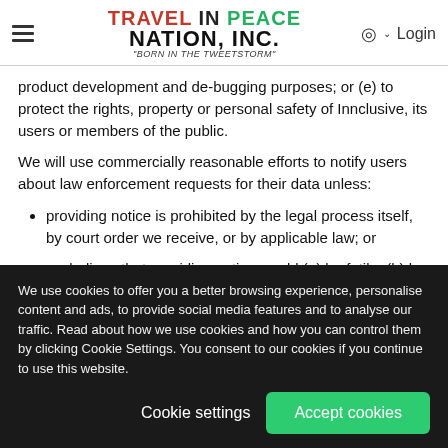TRAVEL IN PEACE NATION, INC. "BORN IN THE TWEETSTORM"
product development and de-bugging purposes; or (e) to protect the rights, property or personal safety of Innclusive, its users or members of the public.
We will use commercially reasonable efforts to notify users about law enforcement requests for their data unless:
providing notice is prohibited by the legal process itself, by court order we receive, or by applicable law; or
we believe that providing notice would (a) be futile, (b) be...
We use cookies to offer you a better browsing experience, personalise content and ads, to provide social media features and to analyse our traffic. Read about how we use cookies and how you can control them by clicking Cookie Settings. You consent to our cookies if you continue to use this website.
Cookie settings | Accept cookies